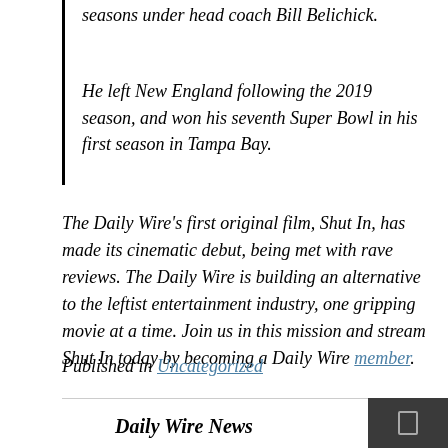seasons under head coach Bill Belichick.
He left New England following the 2019 season, and won his seventh Super Bowl in his first season in Tampa Bay.
The Daily Wire's first original film, Shut In, has made its cinematic debut, being met with rave reviews. The Daily Wire is building an alternative to the leftist entertainment industry, one gripping movie at a time. Join us in this mission and stream Shut In today by becoming a Daily Wire member.
Published in Uncategorized
Daily Wire News